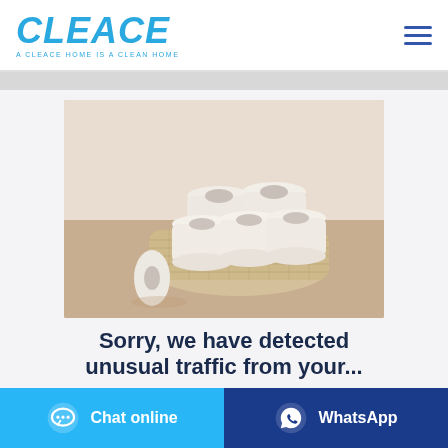CLEACE — A CLEACE HOME IS A CLEAN HOME
[Figure (photo): Toilet paper rolls arranged in a woven basket with one roll outside on a wooden surface, warm beige tones]
Sorry, we have detected unusual traffic from your...
Chat online
WhatsApp